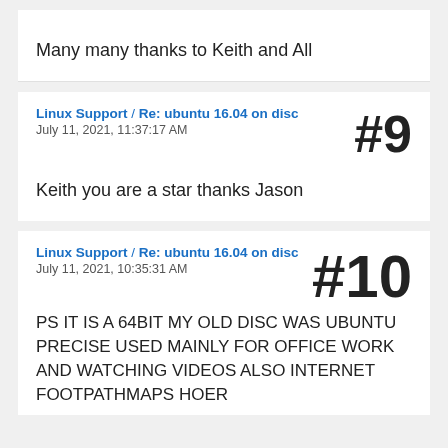Many many thanks to Keith and All
Linux Support / Re: ubuntu 16.04 on disc — #9
July 11, 2021, 11:37:17 AM
Keith you are a star thanks Jason
Linux Support / Re: ubuntu 16.04 on disc — #10
July 11, 2021, 10:35:31 AM
PS IT IS A 64BIT MY OLD DISC WAS UBUNTU PRECISE USED MAINLY FOR OFFICE WORK AND WATCHING VIDEOS ALSO INTERNET FOOTPATHMAPS HOER